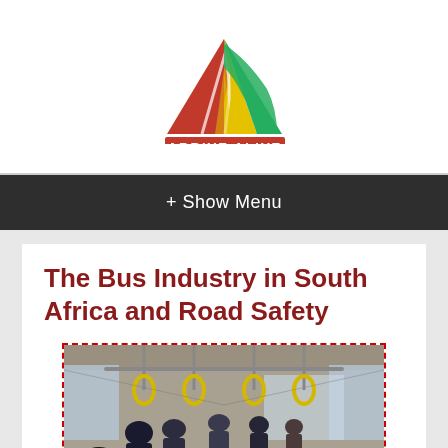[Figure (logo): Arrive Alive logo with triangular road safety graphic in red, yellow and green, red banner reading ARRIVE ALIVE, and website www.arrivealive.co.za]
+ Show Menu
The Bus Industry in South Africa and Road Safety
[Figure (photo): Interior of a public bus with passengers standing and seated, yellow hanging handrails visible]